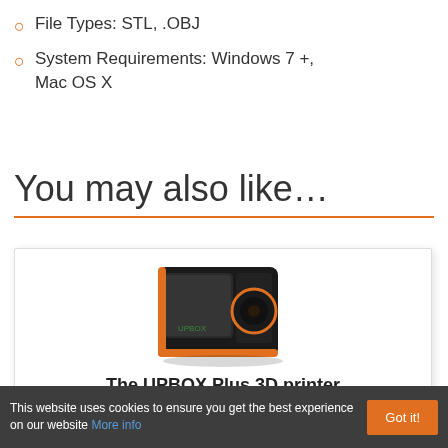File Types: STL, .OBJ
System Requirements: Windows 7 +, Mac OS X
You may also like…
[Figure (photo): The UPBOX Plus 3D printer — a compact black and orange 3D printer with a square form factor, transparent front panel, and circular ventilation on the right side.]
The UPBOX Plus 3D printer
★★★★★
£1,906.80
This website uses cookies to ensure you get the best experience on our website More info